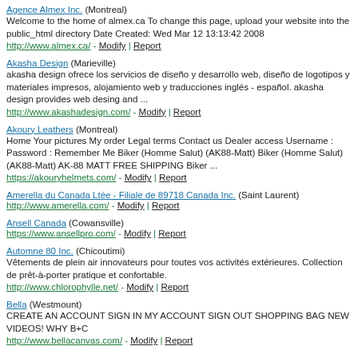Agence Almex Inc. (Montreal) Welcome to the home of almex.ca To change this page, upload your website into the public_html directory Date Created: Wed Mar 12 13:13:42 2008 http://www.almex.ca/ - Modify | Report
Akasha Design (Marieville) akasha design ofrece los servicios de diseño y desarrollo web, diseño de logotipos y materiales impresos, alojamiento web y traducciones inglés - español. akasha design provides web desing and ... http://www.akashadesign.com/ - Modify | Report
Akoury Leathers (Montreal) Home Your pictures My order Legal terms Contact us Dealer access Username : Password : Remember Me Biker (Homme Salut) (AK88-Matt) Biker (Homme Salut) (AK88-Matt) AK-88 MATT FREE SHIPPING Biker ... https://akouryhelmets.com/ - Modify | Report
Amerella du Canada Ltée - Filiale de 89718 Canada Inc. (Saint Laurent) http://www.amerella.com/ - Modify | Report
Ansell Canada (Cowansville) https://www.ansellpro.com/ - Modify | Report
Automne 80 Inc. (Chicoutimi) Vêtements de plein air innovateurs pour toutes vos activités extérieures. Collection de prêt-à-porter pratique et confortable. http://www.chlorophylle.net/ - Modify | Report
Bella (Westmount) CREATE AN ACCOUNT SIGN IN MY ACCOUNT SIGN OUT SHOPPING BAG NEW VIDEOS! WHY B+C http://www.bellacanvas.com/ - Modify | Report